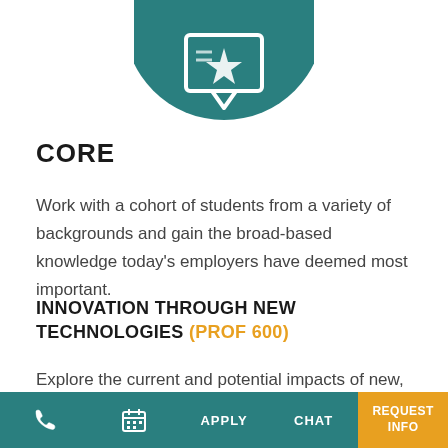[Figure (illustration): Teal circular icon with an academic/degree symbol (diploma or certificate with ribbon) in white, partially visible at top of page]
CORE
Work with a cohort of students from a variety of backgrounds and gain the broad-based knowledge today's employers have deemed most important.
INNOVATION THROUGH NEW TECHNOLOGIES (PROF 600)
Explore the current and potential impacts of new, emerging, and rapidly evolving
📞  📅  APPLY  CHAT  REQUEST INFO